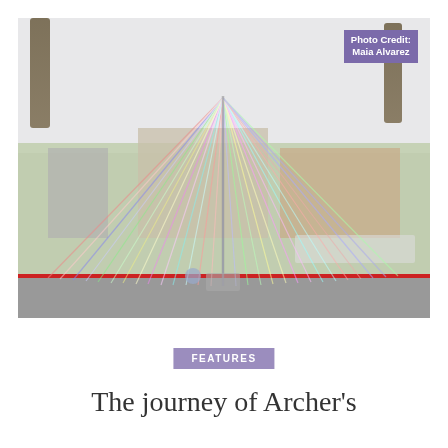[Figure (photo): Outdoor photograph of a school campus with a large maypole installation in the center of a green lawn. Colorful ribbons/strings radiate from a central pole outward to the ground. Buildings visible in the background, palm trees on left and right, people gathered on the right side. A red curb line runs along the bottom of the grass. Photo credit badge reads 'Photo Credit: Maia Alvarez' in upper right corner.]
Photo Credit: Maia Alvarez
FEATURES
The journey of Archer's